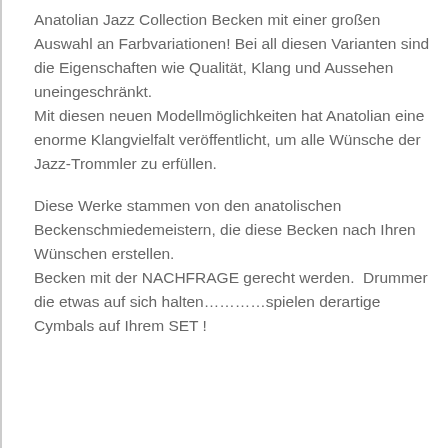Anatolian Jazz Collection Becken mit einer großen Auswahl an Farbvariationen! Bei all diesen Varianten sind die Eigenschaften wie Qualität, Klang und Aussehen uneingeschränkt.
Mit diesen neuen Modellmöglichkeiten hat Anatolian eine enorme Klangvielfalt veröffentlicht, um alle Wünsche der Jazz-Trommler zu erfüllen.

Diese Werke stammen von den anatolischen Beckenschmiedemeistern, die diese Becken nach Ihren Wünschen erstellen.
Becken mit der NACHFRAGE gerecht werden.  Drummer die etwas auf sich halten…………spielen derartige Cymbals auf Ihrem SET !